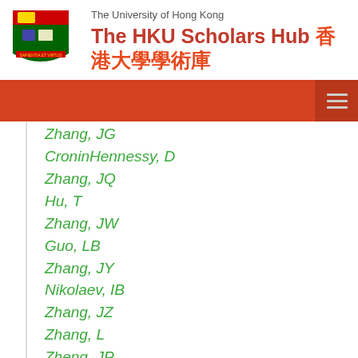The University of Hong Kong — The HKU Scholars Hub 香港大學學術庫
Zhang, JG
CroninHennessy, D
Zhang, JQ
Hu, T
Zhang, JW
Guo, LB
Zhang, JY
Nikolaev, IB
Zhang, JZ
Zhang, L
Zheng, JP
Zhang, SH
Zhang, TR
Zhang, XJ
Li, WD
Peters, K
Chang, JF
Zhang, XY